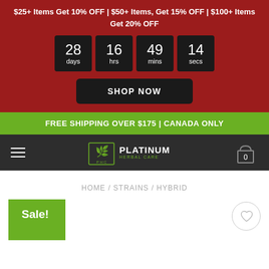$25+ Items Get 10% OFF | $50+ Items, Get 15% OFF | $100+ Items Get 20% OFF
[Figure (infographic): Countdown timer showing 28 days, 16 hrs, 49 mins, 14 secs]
SHOP NOW
FREE SHIPPING OVER $175 | CANADA ONLY
[Figure (logo): Platinum Herbal Care (PHC) logo with cannabis leaf icon on dark navigation bar]
HOME / STRAINS / HYBRID
Sale!